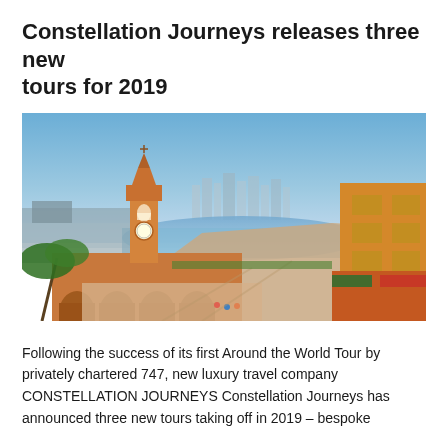Constellation Journeys releases three new tours for 2019
[Figure (photo): Aerial view of Cartagena, Colombia, showing the historic Clock Tower gate, old city walls with arched passages, a wide plaza, colorful orange and yellow colonial buildings on the right, the harbor and bay in the background with modern city skyline, blue sky, and palm trees.]
Following the success of its first Around the World Tour by privately chartered 747, new luxury travel company CONSTELLATION JOURNEYS Constellation Journeys has announced three new tours taking off in 2019 – bespoke